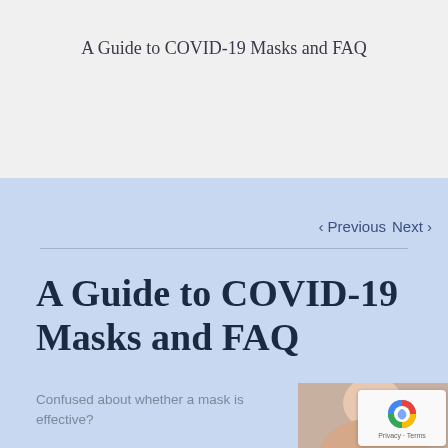A Guide to COVID-19 Masks and FAQ
< Previous   Next >
A Guide to COVID-19 Masks and FAQ
Confused about whether a mask is effective?
[Figure (photo): Close-up photo of a person wearing a face mask]